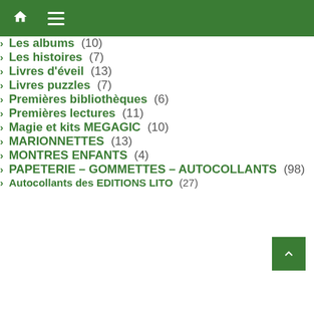Navigation menu header with home and menu icons
Les albums (10)
Les histoires (7)
Livres d'éveil (13)
Livres puzzles (7)
Premières bibliothèques (6)
Premières lectures (11)
Magie et kits MEGAGIC (10)
MARIONNETTES (13)
MONTRES ENFANTS (4)
PAPETERIE – GOMMETTES – AUTOCOLLANTS (98)
Autocollants des EDITIONS LITO (27)